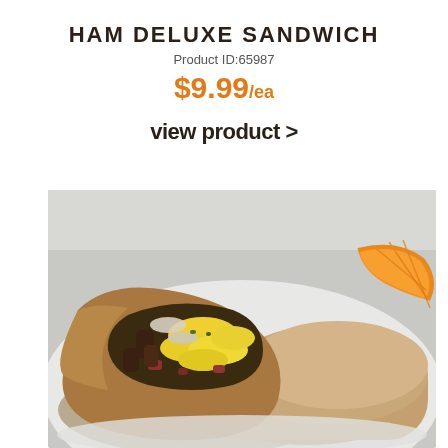HAM DELUXE SANDWICH
Product ID:65987
$9.99/ea
view product >
[Figure (photo): Close-up photo of a ham deluxe sandwich wrap cut in half, showing scrambled eggs, ham, onions, and other fillings inside a whole wheat tortilla, served with an orange wedge on a white plate.]